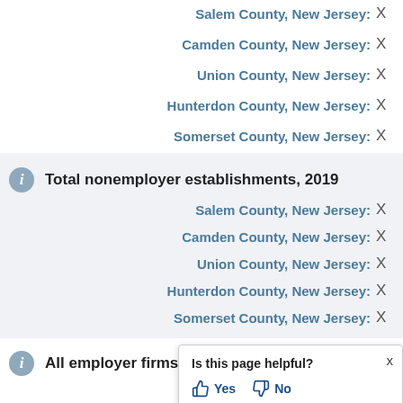Salem County, New Jersey: X
Camden County, New Jersey: X
Union County, New Jersey: X
Hunterdon County, New Jersey: X
Somerset County, New Jersey: X
Total nonemployer establishments, 2019
Salem County, New Jersey: X
Camden County, New Jersey: X
Union County, New Jersey: X
Hunterdon County, New Jersey: X
Somerset County, New Jersey: X
All employer firms, Reference
Salem County, New Jersey: (partial, obscured by popup)
Is this page helpful? Yes No